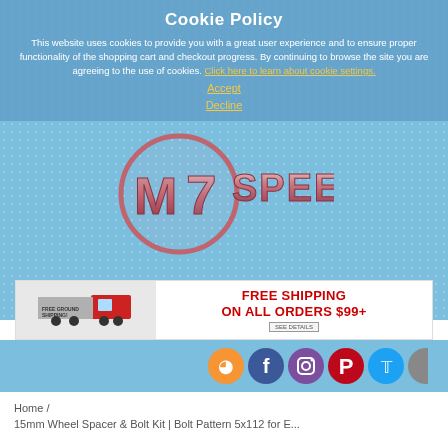Cookie Policy
This website uses cookies to provide you with a great user experience and to ensure proper functionality of the shopping cart and checkout progress. By continuing to browse the site you are agreeing to the use of cookies. Click here to learn about cookie settings.
Accept
Decline
[Figure (logo): M7 Speed logo — stylized M7 in a chrome circle with SPEED text]
[Figure (infographic): Free Ground Shipping banner with truck image and text FREE SHIPPING ON ALL ORDERS $99+ SEE DETAILS]
[Figure (infographic): Row of social media icons: RSS, Facebook, Instagram, Pinterest, Twitter, and partial icon]
Home /
15mm Wheel Spacer & Bolt Kit | Bolt Pattern 5x112 for E...